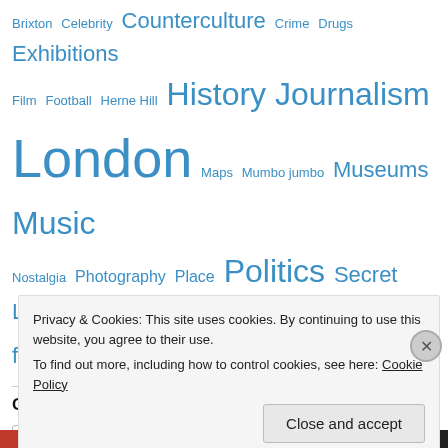Brixton Celebrity Counterculture Crime Drugs Exhibitions Film Football Herne Hill History Journalism London Maps Mumbo jumbo Museums Music Nostalgia Photography Place Politics Secret London Street furniture Transport Uncategorized
Great Wen subscription
Enter your email address
Privacy & Cookies: This site uses cookies. By continuing to use this website, you agree to their use. To find out more, including how to control cookies, see here: Cookie Policy
Close and accept